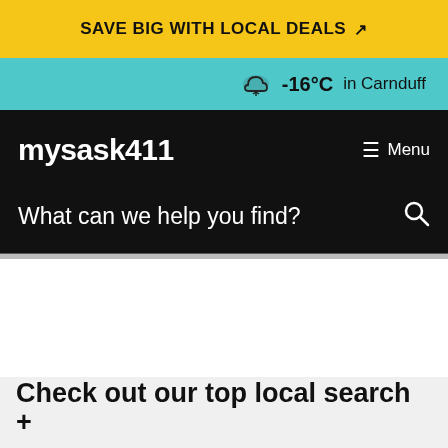SAVE BIG WITH LOCAL DEALS
-16°C in Carnduff
mysask411
≡ Menu
What can we help you find?
Check out our top local search +